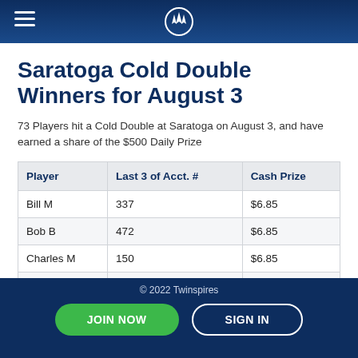Saratoga / Twinspires header with logo
Saratoga Cold Double Winners for August 3
73 Players hit a Cold Double at Saratoga on August 3, and have earned a share of the $500 Daily Prize
| Player | Last 3 of Acct. # | Cash Prize |
| --- | --- | --- |
| Bill M | 337 | $6.85 |
| Bob B | 472 | $6.85 |
| Charles M | 150 | $6.85 |
| Claude T | 878 | $6.85 |
| Dale I | 910 | $6.85 |
© 2022 Twinspires